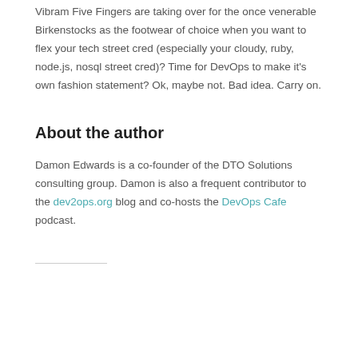Vibram Five Fingers are taking over for the once venerable Birkenstocks as the footwear of choice when you want to flex your tech street cred (especially your cloudy, ruby, node.js, nosql street cred)? Time for DevOps to make it's own fashion statement? Ok, maybe not. Bad idea. Carry on.
About the author
Damon Edwards is a co-founder of the DTO Solutions consulting group. Damon is also a frequent contributor to the dev2ops.org blog and co-hosts the DevOps Cafe podcast.